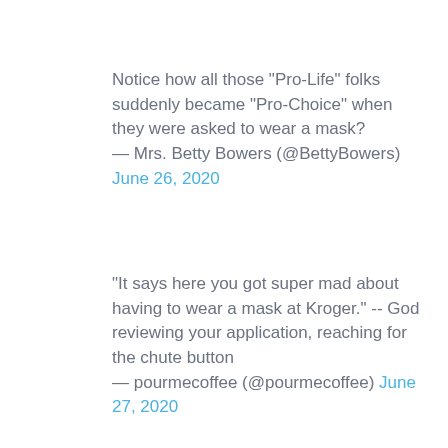Notice how all those "Pro-Life" folks suddenly became "Pro-Choice" when they were asked to wear a mask?
— Mrs. Betty Bowers (@BettyBowers) June 26, 2020
"It says here you got super mad about having to wear a mask at Kroger." -- God reviewing your application, reaching for the chute button
— pourmecoffee (@pourmecoffee) June 27, 2020